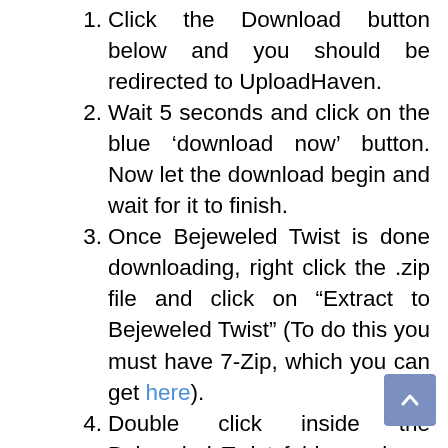Click the Download button below and you should be redirected to UploadHaven.
Wait 5 seconds and click on the blue ‘download now’ button. Now let the download begin and wait for it to finish.
Once Bejeweled Twist is done downloading, right click the .zip file and click on “Extract to Bejeweled Twist” (To do this you must have 7-Zip, which you can get here).
Double click inside the Bejeweled Twist folder and run the exe application.
Have fun and play! Make sure to run the game as administrator and if you get any missing dll errors, look for a Redist or _CommonRedist folder and install all the programs in the folder.